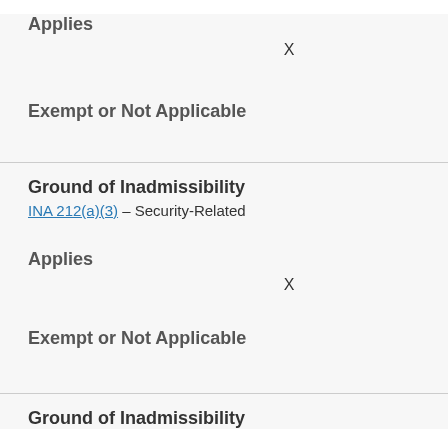Applies
X
Exempt or Not Applicable
Ground of Inadmissibility
INA 212(a)(3) – Security-Related
Applies
X
Exempt or Not Applicable
Ground of Inadmissibility